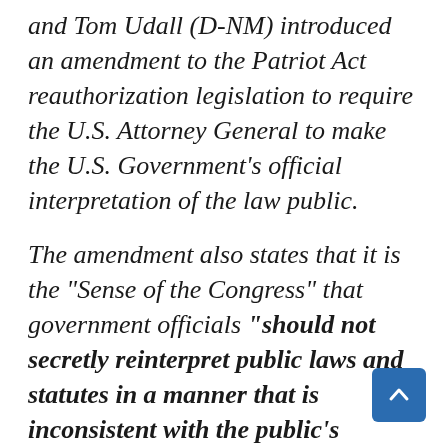and Tom Udall (D-NM) introduced an amendment to the Patriot Act reauthorization legislation to require the U.S. Attorney General to make the U.S. Government's official interpretation of the law public.
The amendment also states that it is the “Sense of the Congress” that government officials “should not secretly reinterpret public laws and statutes in a manner that is inconsistent with the public’s understanding of those laws and